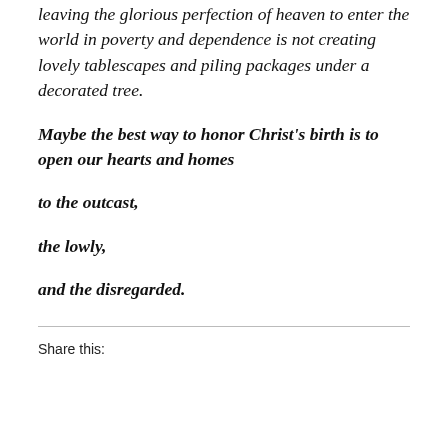leaving the glorious perfection of heaven to enter the world in poverty and dependence is not creating lovely tablescapes and piling packages under a decorated tree.
Maybe the best way to honor Christ's birth is to open our hearts and homes
to the outcast,
the lowly,
and the disregarded.
Share this: